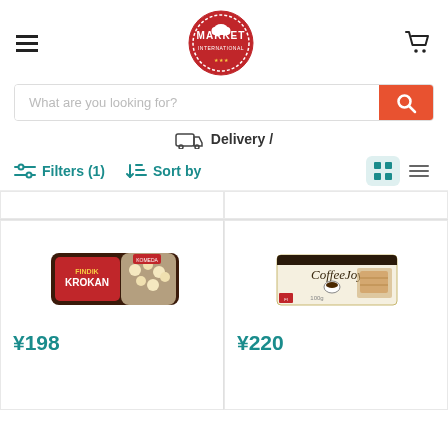Market International - header with hamburger menu, logo, cart icon
What are you looking for?
Delivery /
Filters (1)   Sort by
[Figure (photo): Product image: Findik Krokan chocolate snack bag by Komeda, dark brown packaging with white round puffs]
¥198
[Figure (photo): Product image: CoffeeJoy biscuits box, beige/cream packaging with coffee cup and biscuits]
¥220